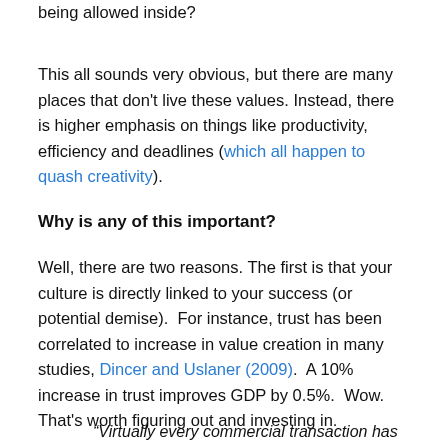culture is changing outside your organisation, but is it being allowed inside?
This all sounds very obvious, but there are many places that don't live these values. Instead, there is higher emphasis on things like productivity, efficiency and deadlines (which all happen to quash creativity).
Why is any of this important?
Well, there are two reasons. The first is that your culture is directly linked to your success (or potential demise).  For instance, trust has been correlated to increase in value creation in many studies, Dincer and Uslaner (2009).  A 10% increase in trust improves GDP by 0.5%.  Wow. That's worth figuring out and investing in.
“Virtually every commercial transaction has within itself an element of trust, and it can cut transaction